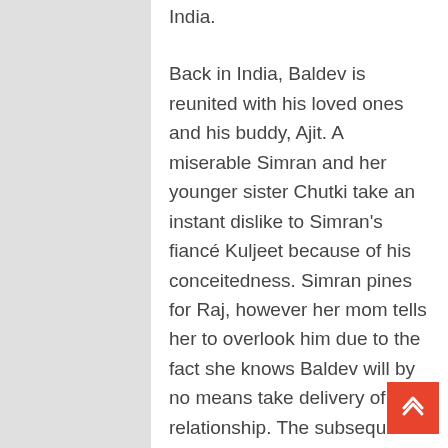India. Back in India, Baldev is reunited with his loved ones and his buddy, Ajit. A miserable Simran and her younger sister Chutki take an instant dislike to Simran's fiancé Kuljeet because of his conceitedness. Simran pines for Raj, however her mom tells her to overlook him due to the fact she knows Baldev will by no means take delivery of their relationship. The subsequent morning, Raj arrives outside of the residence in which Simran is staying and the two reunite. She begs him to elope along with her, however Raj refuses and says he's going to only marry her with Baldev's consent. Without disclosing his acquaintance with Simran, Raj befriends Kuljeet and boldly...